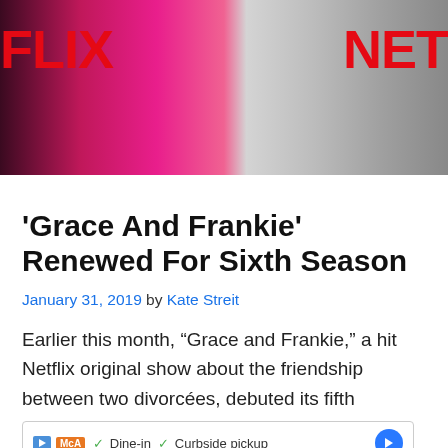[Figure (photo): Two women at a Netflix event; one wearing a bright pink/magenta sequined outfit, the other wearing a white lace/beaded gown. Netflix logos visible on left and right edges.]
'Grace And Frankie' Renewed For Sixth Season
January 31, 2019 by Kate Streit
Earlier this month, “Grace and Frankie,” a hit Netflix original show about the friendship between two divorcées, debuted its fifth
[Figure (other): Advertisement banner: Play icon, McA logo, checkmark Dine-in, checkmark Curbside pickup, blue arrow circle, X close button]